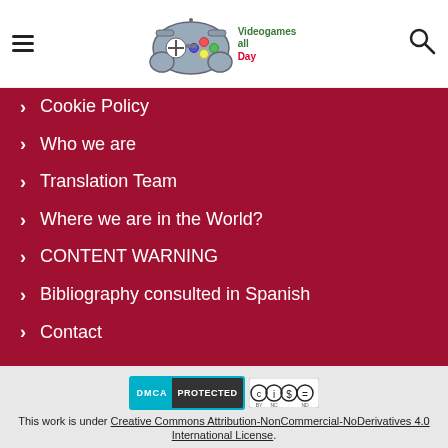Videogames all Day - navigation header with hamburger menu and search icon
Cookie Policy
Who we are
Translation Team
Where we are in the World?
CONTENT WARNING
Bibliography consulted in Spanish
Contact
DMCA PROTECTED | CC BY NC ND badge. This work is under Creative Commons Attribution-NonCommercial-NoDerivatives 4.0 International License.